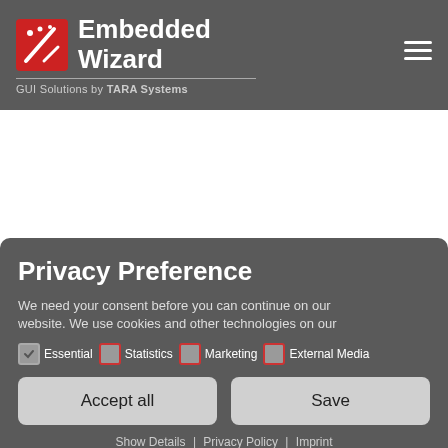Embedded Wizard – GUI Solutions by TARA Systems
Privacy Preference
We need your consent before you can continue on our website. We use cookies and other technologies on our
Essential   Statistics   Marketing   External Media
Accept all   Save
Show Details | Privacy Policy | Imprint